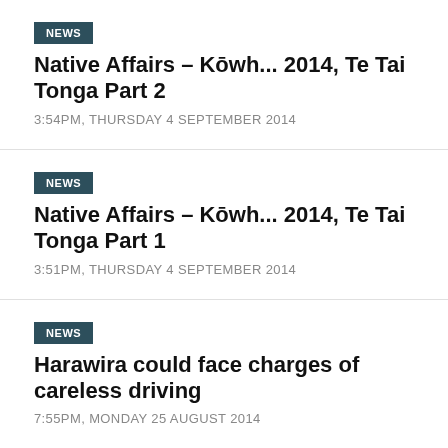NEWS
Native Affairs – Kōwh... 2014, Te Tai Tonga Part 2
3:54PM, THURSDAY 4 SEPTEMBER 2014
NEWS
Native Affairs – Kōwh... 2014, Te Tai Tonga Part 1
3:51PM, THURSDAY 4 SEPTEMBER 2014
NEWS
Harawira could face charges of careless driving
7:55PM, MONDAY 25 AUGUST 2014